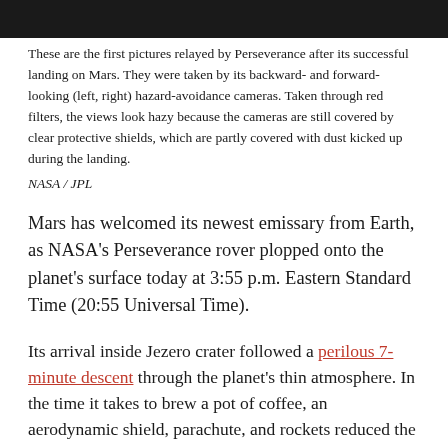[Figure (photo): Dark strip at top representing the bottom edge of Mars surface image taken by Perseverance rover hazard-avoidance cameras]
These are the first pictures relayed by Perseverance after its successful landing on Mars. They were taken by its backward- and forward-looking (left, right) hazard-avoidance cameras. Taken through red filters, the views look hazy because the cameras are still covered by clear protective shields, which are partly covered with dust kicked up during the landing.
NASA / JPL
Mars has welcomed its newest emissary from Earth, as NASA's Perseverance rover plopped onto the planet's surface today at 3:55 p.m. Eastern Standard Time (20:55 Universal Time).
Its arrival inside Jezero crater followed a perilous 7-minute descent through the planet's thin atmosphere. In the time it takes to brew a pot of coffee, an aerodynamic shield, parachute, and rockets reduced the arriving spacecraft's velocity from 5.4 kilometers per second (12,100 mph) at the top of the Martian atmosphere — 150 km (95 miles) up — to